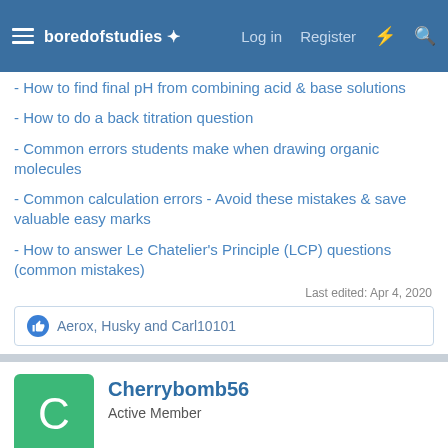boredofstudies | Log in | Register
- How to find final pH from combining acid & base solutions
- How to do a back titration question
- Common errors students make when drawing organic molecules
- Common calculation errors - Avoid these mistakes & save valuable easy marks
- How to answer Le Chatelier's Principle (LCP) questions (common mistakes)
Last edited: Apr 4, 2020
Aerox, Husky and Carl10101
Cherrybomb56
Active Member